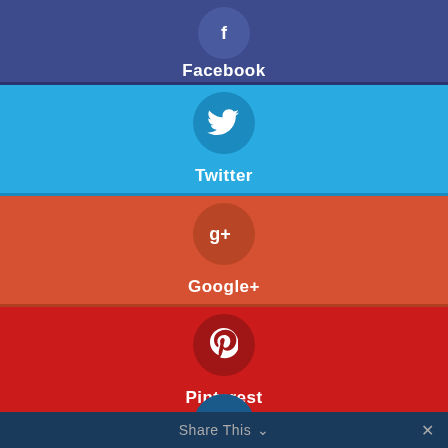[Figure (infographic): Social media sharing buttons: Facebook (dark blue-purple), Twitter (cyan blue), Google+ (orange-red), Pinterest (red), LinkedIn (blue), with Share This bar at bottom]
Facebook
Twitter
Google+
Pinterest
LinkedIn
Share This